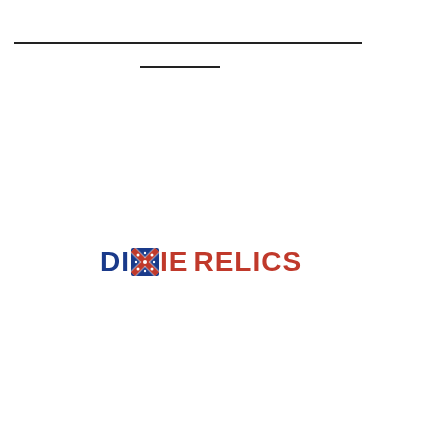[Figure (logo): Dixie Relics logo with Confederate battle flag icon replacing the 'X' in DIXIE, text in blue and red bold uppercase letters]